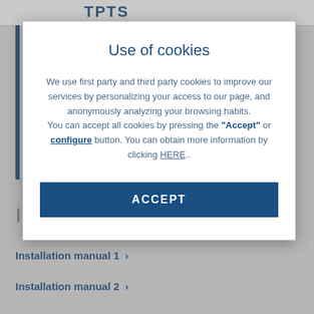[Figure (screenshot): Background webpage showing TPIC logo header, a left blue vertical bar, 'INSTALLATION' heading, and two navigation links: 'Installation manual 1 >' and 'Installation manual 2 >']
Use of cookies
We use first party and third party cookies to improve our services by personalizing your access to our page, and anonymously analyzing your browsing habits. You can accept all cookies by pressing the "Accept" or configure button. You can obtain more information by clicking HERE..
ACCEPT